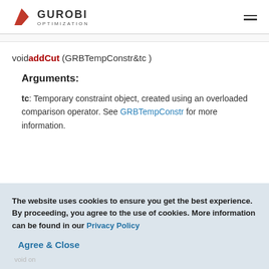Gurobi Optimization
void addCut (GRBTempConstr&tc )
Arguments:
tc: Temporary constraint object, created using an overloaded comparison operator. See GRBTempConstr for more information.
The website uses cookies to ensure you get the best experience. By proceeding, you agree to the use of cookies. More information can be found in our Privacy Policy
Agree & Close